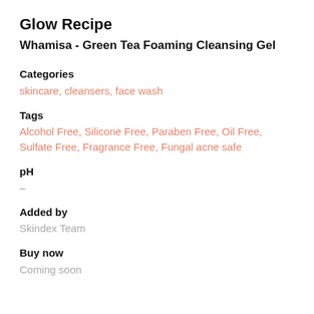Glow Recipe
Whamisa - Green Tea Foaming Cleansing Gel
Categories
skincare, cleansers, face wash
Tags
Alcohol Free, Silicone Free, Paraben Free, Oil Free, Sulfate Free, Fragrance Free, Fungal acne safe
pH
-
Added by
Skindex Team
Buy now
Coming soon